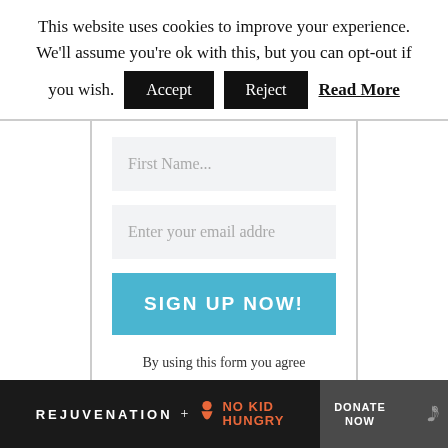This website uses cookies to improve your experience. We'll assume you're ok with this, but you can opt-out if you wish. Accept Reject Read More
[Figure (screenshot): Email signup form with First Name field, email address field, SIGN UP NOW button, and privacy policy agreement text]
By using this form you agree with this site's privacy policy.
[Figure (screenshot): Footer bar with REJUVENATION + NO KID HUNGRY logos, DONATE NOW button, and WP logo]